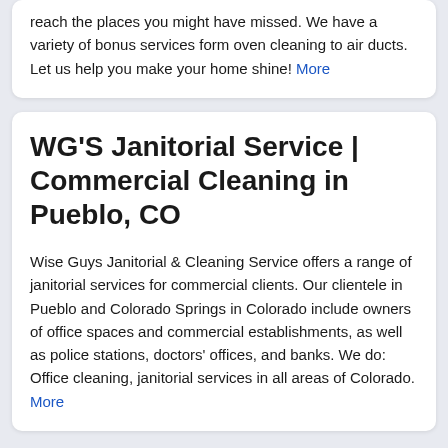reach the places you might have missed. We have a variety of bonus services form oven cleaning to air ducts. Let us help you make your home shine! More
WG'S Janitorial Service | Commercial Cleaning in Pueblo, CO
Wise Guys Janitorial & Cleaning Service offers a range of janitorial services for commercial clients. Our clientele in Pueblo and Colorado Springs in Colorado include owners of office spaces and commercial establishments, as well as police stations, doctors' offices, and banks. We do: Office cleaning, janitorial services in all areas of Colorado. More